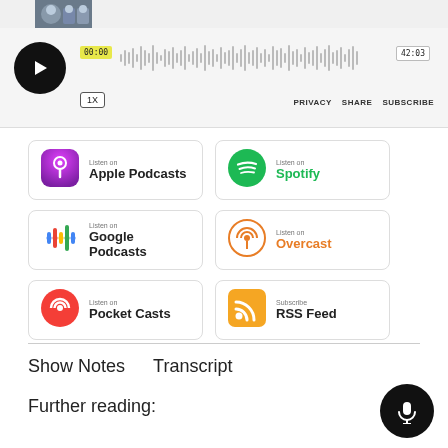[Figure (screenshot): Podcast player interface with play button, waveform, time counters 00:00 and 42:03, speed 1X, and links PRIVACY SHARE SUBSCRIBE]
[Figure (screenshot): Listen on Apple Podcasts badge]
[Figure (screenshot): Listen on Spotify badge]
[Figure (screenshot): Listen on Google Podcasts badge]
[Figure (screenshot): Listen on Overcast badge]
[Figure (screenshot): Listen on Pocket Casts badge]
[Figure (screenshot): Subscribe RSS Feed badge]
Show Notes   Transcript
Further reading: